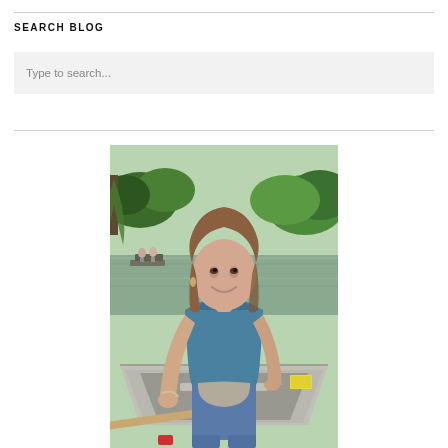SEARCH BLOG
Type to search...
[Figure (photo): A young woman with long brown hair sitting in a rowboat on a river or lake. She is smiling, wearing a blue sleeveless top and jeans, and holding oars. Green trees and another boat with people are visible in the background.]